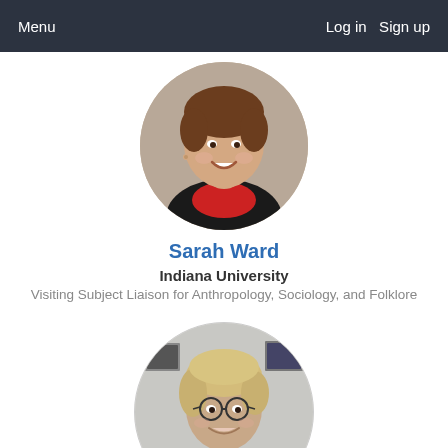Menu   Log in   Sign up
[Figure (photo): Circular profile photo of Sarah Ward, a young woman smiling, wearing a black jacket over a red top, short brown hair]
Sarah Ward
Indiana University
Visiting Subject Liaison for Anthropology, Sociology, and Folklore
[Figure (photo): Circular profile photo of an older woman with short blonde hair, wearing glasses and a dark top with a red patterned scarf, smiling]